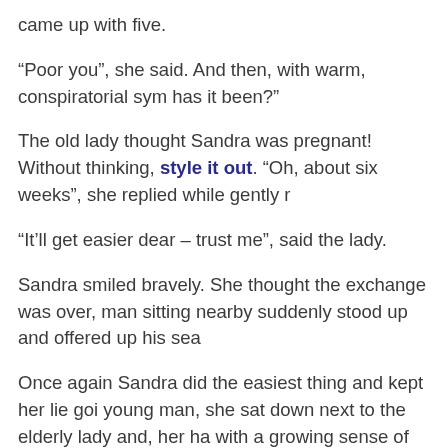came up with five.
“Poor you”, she said. And then, with warm, conspiratorial sym has it been?”
The old lady thought Sandra was pregnant! Without thinking, style it out. “Oh, about six weeks”, she replied while gently r
“It’ll get easier dear – trust me”, said the lady.
Sandra smiled bravely. She thought the exchange was over, man sitting nearby suddenly stood up and offered up his sea
Once again Sandra did the easiest thing and kept her lie goi young man, she sat down next to the elderly lady and, her ha with a growing sense of shame, wondered what the hell had
The moral analysis
At first glance it seems that Sandra is in the wrong. Hangove